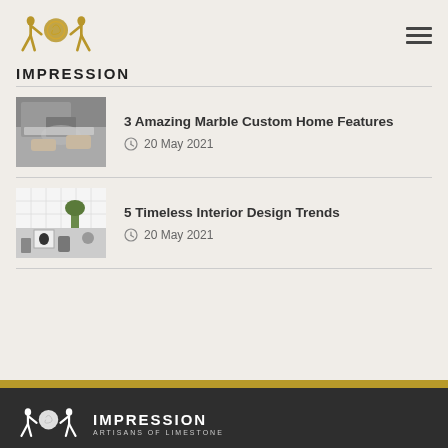IMPRESSION
3 Amazing Marble Custom Home Features
20 May 2021
5 Timeless Interior Design Trends
20 May 2021
[Figure (logo): Impression Artisans of Limestone footer logo on dark background]
IMPRESSION
ARTISANS OF LIMESTONE